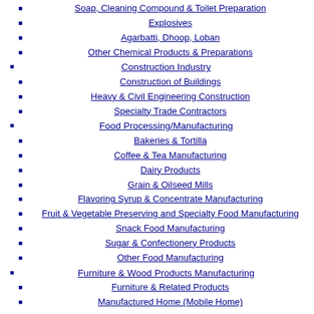Soap, Cleaning Compound & Toilet Preparation
Explosives
Agarbatti, Dhoop, Loban
Other Chemical Products & Preparations
Construction Industry
Construction of Buildings
Heavy & Civil Engineering Construction
Specialty Trade Contractors
Food Processing/Manufacturing
Bakeries & Tortilla
Coffee & Tea Manufacturing
Dairy Products
Grain & Oilseed Mills
Flavoring Syrup & Concentrate Manufacturing
Fruit & Vegetable Preserving and Specialty Food Manufacturing
Snack Food Manufacturing
Sugar & Confectionery Products
Other Food Manufacturing
Furniture & Wood Products Manufacturing
Furniture & Related Products
Manufactured Home (Mobile Home)